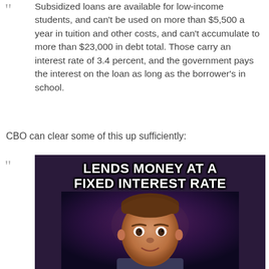Subsidized loans are available for low-income students, and can't be used on more than $5,500 a year in tuition and other costs, and can't accumulate to more than $23,000 in debt total. Those carry an interest rate of 3.4 percent, and the government pays the interest on the loan as long as the borrower's in school.
CBO can clear some of this up sufficiently:
[Figure (photo): Meme image with text 'LENDS MONEY AT A FIXED INTEREST RATE' over a photo of a man's face against a dark purple/blue background (Bad Luck Brian style meme)]